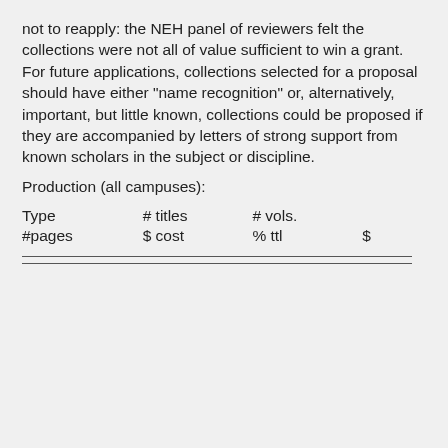not to reapply: the NEH panel of reviewers felt the collections were not all of value sufficient to win a grant. For future applications, collections selected for a proposal should have either "name recognition" or, alternatively, important, but little known, collections could be proposed if they are accompanied by letters of strong support from known scholars in the subject or discipline.
Production (all campuses):
| Type | # titles | # vols. | #pages |
| --- | --- | --- | --- |
| Type | # titles | # vols. |  |
| #pages | $ cost | % ttl | $ |